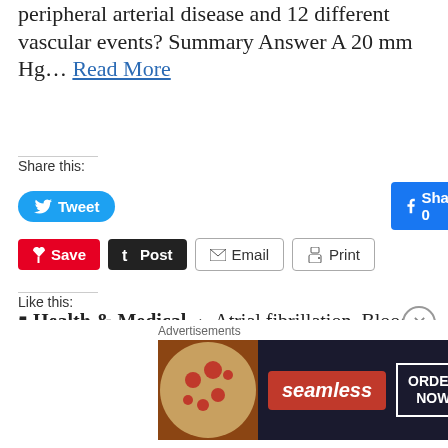peripheral arterial disease and 12 different vascular events? Summary Answer A 20 mm Hg... Read More
Share this:
[Figure (screenshot): Social sharing buttons: Tweet (Twitter/blue), Share 0 (Facebook/blue), Share (LinkedIn/blue), Save (Pinterest/red), Post (Tumblr/dark), Email, Print]
Like this:
Loading...
Health & Medical  ✦  Atrial fibrillation, Blood Pressure, Chronic Kidney Disease, Heart Failure, Ischaemic Heart Disease, Peripheral Arterial Disease, Stroke...
[Figure (screenshot): Seamless food ordering advertisement banner with pizza image, Seamless brand name, and ORDER NOW button]